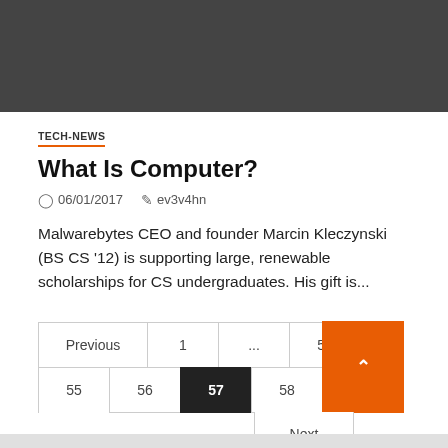[Figure (photo): Dark gray banner image at top of page]
TECH-NEWS
What Is Computer?
06/01/2017   ev3v4hn
Malwarebytes CEO and founder Marcin Kleczynski (BS CS '12) is supporting large, renewable scholarships for CS undergraduates. His gift is...
Previous  1  ...  54  55  56  57  58  Next